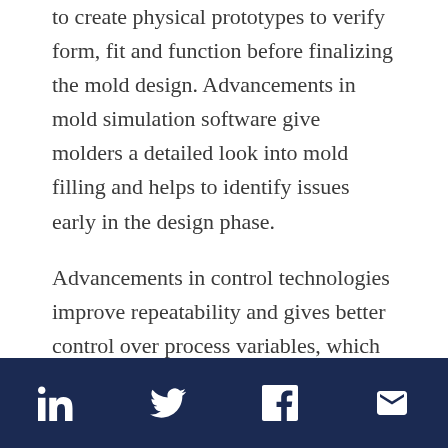to create physical prototypes to verify form, fit and function before finalizing the mold design. Advancements in mold simulation software give molders a detailed look into mold filling and helps to identify issues early in the design phase.

Advancements in control technologies improve repeatability and gives better control over process variables, which translates into precise molding of even the most intricate parts. Together these
Social media icons: LinkedIn, Twitter, Facebook, Email